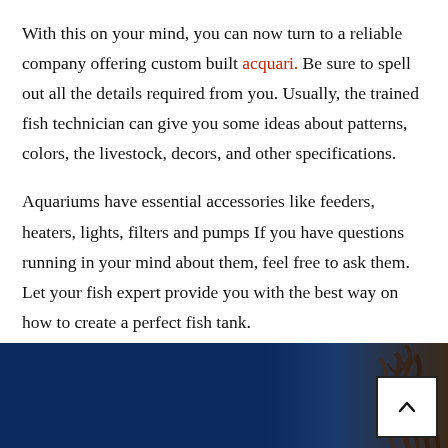With this on your mind, you can now turn to a reliable company offering custom built acquari. Be sure to spell out all the details required from you. Usually, the trained fish technician can give you some ideas about patterns, colors, the livestock, decors, and other specifications.
Aquariums have essential accessories like feeders, heaters, lights, filters and pumps If you have questions running in your mind about them, feel free to ask them. Let your fish expert provide you with the best way on how to create a perfect fish tank.
[Figure (photo): Dark blue aquarium background with coral/branch-like structures visible on the right side. A small white scroll-to-top button with an up arrow chevron is overlaid in the bottom-right corner.]